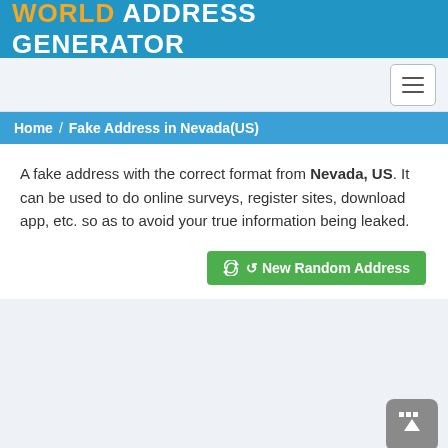WORLD ADDRESS GENERATOR
[Figure (screenshot): Hamburger menu button (three horizontal lines) in white rounded rectangle border]
Home / Fake Address in Nevada(US)
A fake address with the correct format from Nevada, US. It can be used to do online surveys, register sites, download app, etc. so as to avoid your true information being leaked.
[Figure (other): Green button labeled 'New Random Address' with refresh icon]
[Figure (other): Back to top button (grey rounded square with upward arrow) labeled 'Top']